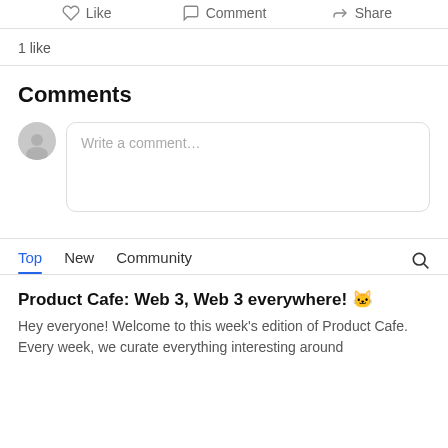Like   Comment   Share
1 like
Comments
Write a comment…
Top   New   Community
Product Cafe: Web 3, Web 3 everywhere! 🐱‍👤
Hey everyone! Welcome to this week's edition of Product Cafe. Every week, we curate everything interesting around